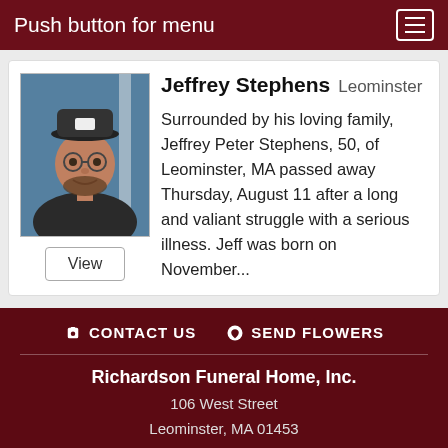Push button for menu
Jeffrey Stephens  Leominster
[Figure (photo): Portrait photo of Jeffrey Stephens wearing a cap and glasses, smiling]
Surrounded by his loving family, Jeffrey Peter Stephens, 50, of Leominster, MA passed away Thursday, August 11 after a long and valiant struggle with a serious illness. Jeff was born on November...
CONTACT US   SEND FLOWERS
Richardson Funeral Home, Inc.
106 West Street
Leominster, MA 01453